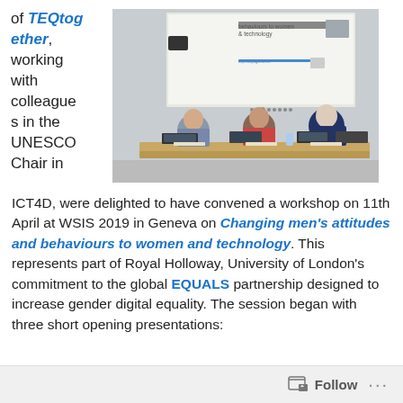of TEQtogether, working with colleagues in the UNESCO Chair in ICT4D, were delighted to have convened a workshop on 11th April at WSIS 2019 in Geneva on Changing men's attitudes and behaviours to women and technology. This represents part of Royal Holloway, University of London's commitment to the global EQUALS partnership designed to increase gender digital equality. The session began with three short opening presentations:
[Figure (photo): Three people seated at a panel table in a conference room with a projection screen behind them showing a slide about 'Changing attitudes and behaviours to women & technology']
Follow ···